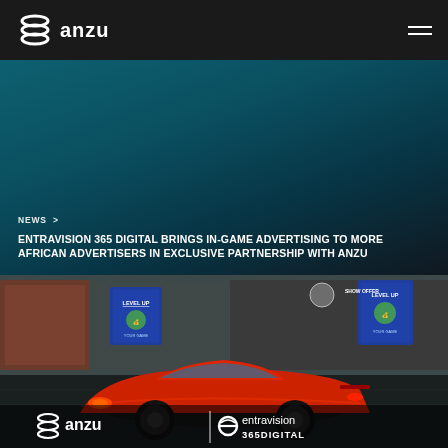[Figure (logo): Anzu logo with icon and text 'anzu' in white on dark nav bar]
NEWS >
ENTRAVISION 365 DIGITAL BRINGS IN-GAME ADVERTISING TO MORE AFRICAN ADVERTISERS IN EXCLUSIVE PARTNERSHIP WITH ANZU
[Figure (photo): In-game screenshot showing a red sports car in a garage with Entravision 365 Digital and Anzu billboard ads visible in the game environment. Overlay shows Anzu and Entravision 365 Digital logos.]